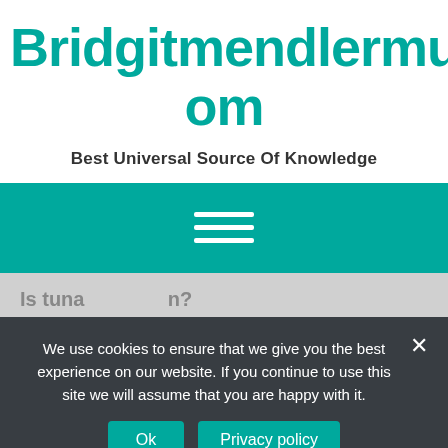Bridgitmendlermusic.Com
Best Universal Source Of Knowledge
[Figure (other): Teal navigation bar with white hamburger menu icon (three horizontal lines)]
We use cookies to ensure that we give you the best experience on our website. If you continue to use this site we will assume that you are happy with it.
Ok   Privacy policy